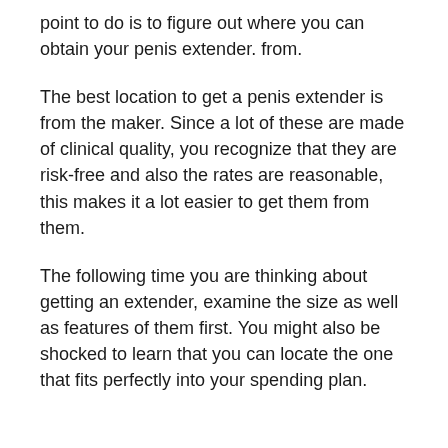point to do is to figure out where you can obtain your penis extender. from.
The best location to get a penis extender is from the maker. Since a lot of these are made of clinical quality, you recognize that they are risk-free and also the rates are reasonable, this makes it a lot easier to get them from them.
The following time you are thinking about getting an extender, examine the size as well as features of them first. You might also be shocked to learn that you can locate the one that fits perfectly into your spending plan.